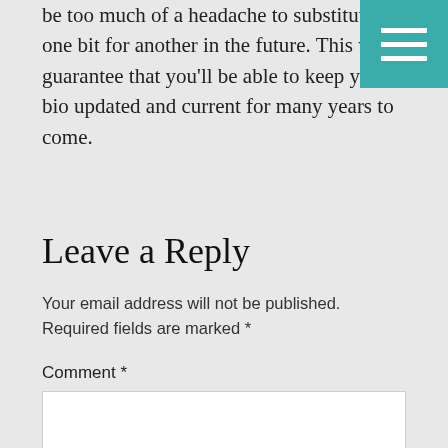be too much of a headache to substitute one bit for another in the future. This will guarantee that you'll be able to keep your bio updated and current for many years to come.
[Figure (other): Teal/turquoise square button with three white horizontal bars (hamburger menu icon) in the top-right corner]
Leave a Reply
Your email address will not be published. Required fields are marked *
Comment *